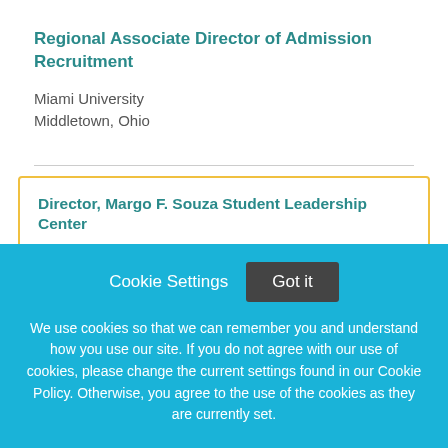Regional Associate Director of Admission Recruitment
Miami University
Middletown, Ohio
Director, Margo F. Souza Student Leadership Center
University of California, Merced
Cookie Settings   Got it

We use cookies so that we can remember you and understand how you use our site. If you do not agree with our use of cookies, please change the current settings found in our Cookie Policy. Otherwise, you agree to the use of the cookies as they are currently set.